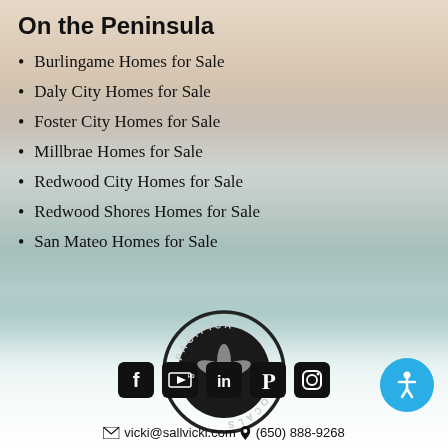On the Peninsula
Burlingame Homes for Sale
Daly City Homes for Sale
Foster City Homes for Sale
Millbrae Homes for Sale
Redwood City Homes for Sale
Redwood Shores Homes for Sale
San Mateo Homes for Sale
[Figure (logo): Pacifica Locals circular stamp logo with sand dollar illustration]
[Figure (infographic): Social media icons row: Facebook, YouTube, LinkedIn, Pinterest, Instagram]
vicki@sallvicki.com  •  (650) 888-9268